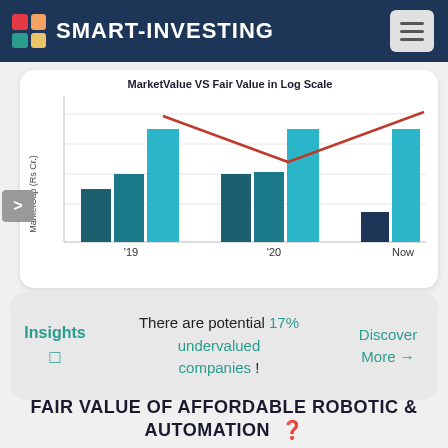SMART-INVESTING
[Figure (grouped-bar-chart): Grouped bar chart showing MarketValue vs Fair Value in Log Scale for years 19, 20, and Now, with a red line overlay showing Fair Value trend]
Insights  There are potential 17% undervalued companies !  Discover More →
FAIR VALUE OF AFFORDABLE ROBOTIC & AUTOMATION